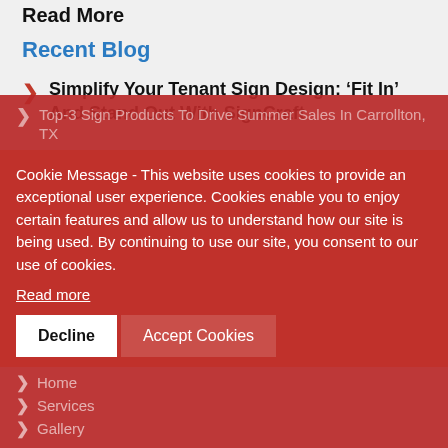Read More
Recent Blog
Simplify Your Tenant Sign Design: 'Fit In' And Stand Out With SignCraft
Get Creative With Large Format Printing Services In Carrollton, TX
Top-3 Sign Products To Drive Summer Sales In Carrollton, TX
Cookie Message - This website uses cookies to provide an exceptional user experience. Cookies enable you to enjoy certain features and allow us to understand how our site is being used. By continuing to use our site, you consent to our use of cookies.
Read more
Decline | Accept Cookies
Home
Services
Gallery